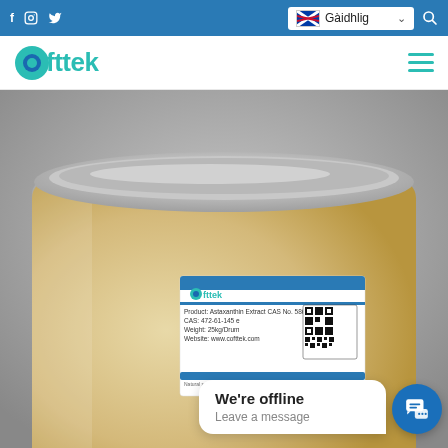Cofttek website header with social icons (f, instagram, twitter), language selector (Gàidhlig), and search icon
[Figure (logo): Cofttek logo — teal circle with blue inner circle followed by text 'fttek' in teal]
[Figure (photo): Large cardboard barrel/drum with a white product label showing Cofttek logo, product details, QR code, and blue stripe. Background is grey. Chat widget overlay at bottom right showing 'We're offline / Leave a message' with blue chat button.]